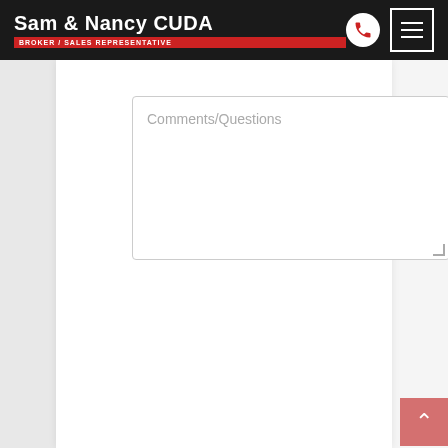Sam & Nancy CUDA — BROKER / SALES REPRESENTATIVE
Comments/Questions
Security Question: 12 + 17 =
Submit